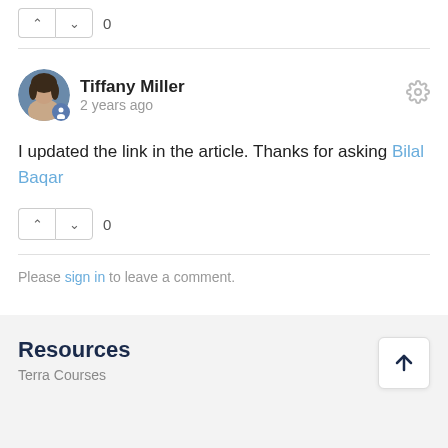0
Tiffany Miller
2 years ago
I updated the link in the article. Thanks for asking Bilal Baqar
0
Please sign in to leave a comment.
Resources
Terra Courses